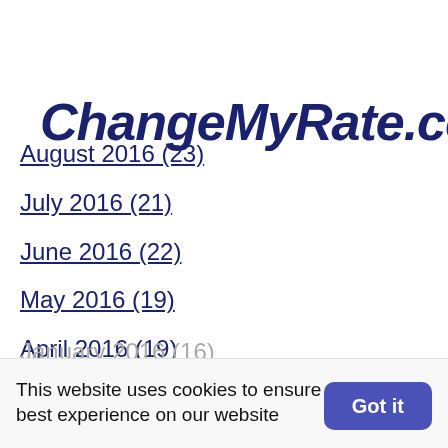ChangeMyRate.com®
August 2016 (23)
July 2016 (21)
June 2016 (22)
May 2016 (19)
April 2016 (19)
March 2016 (28)
February 2016 (17)
January 2016 (16)
December 2015 (15)
November 2015 (13)
October 2015 (19)
This website uses cookies to ensure you get the best experience on our website